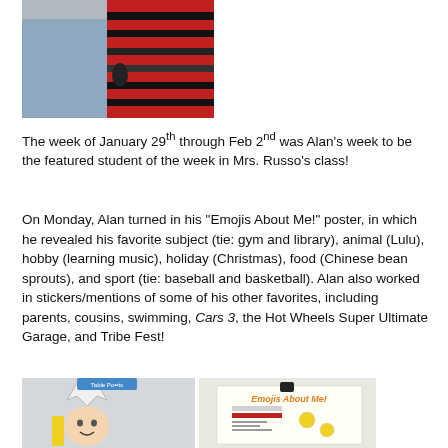[Figure (photo): Top photo showing two people, one wearing a striped red/black shirt]
The week of January 29th through Feb 2nd was Alan's week to be the featured student of the week in Mrs. Russo's class!
On Monday, Alan turned in his "Emojis About Me!" poster, in which he revealed his favorite subject (tie: gym and library), animal (Lulu), hobby (learning music), holiday (Christmas), food (Chinese bean sprouts), and sport (tie: baseball and basketball). Alan also worked in stickers/mentions of some of his other favorites, including parents, cousins, swimming, Cars 3, the Hot Wheels Super Ultimate Garage, and Tribe Fest!
[Figure (photo): Bottom photos showing a child wearing a crown hat and an 'Emojis About Me' poster pinned to a board]